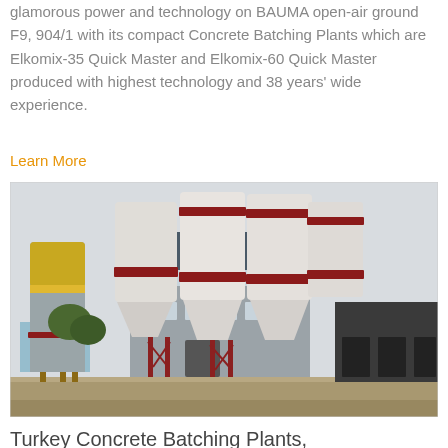glamorous power and technology on BAUMA open-air ground F9, 904/1 with its compact Concrete Batching Plants which are Elkomix-35 Quick Master and Elkomix-60 Quick Master produced with highest technology and 38 years' wide experience.
Learn More
[Figure (photo): Photograph of a concrete batching plant facility. On the left is a yellow and grey cylindrical silo. In the center and right are multiple large white silos with red horizontal bands, mounted on a tall grey industrial building with windows. Steel support structures and conveyors are visible. Background shows overcast sky and other industrial buildings.]
Turkey Concrete Batching Plants,